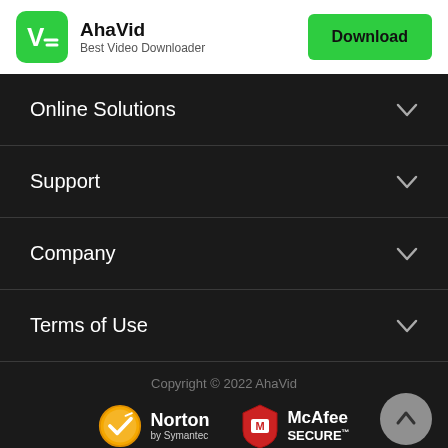AhaVid — Best Video Downloader — Download
Online Solutions
Support
Company
Terms of Use
Copyright © 2022 AhaVid
[Figure (logo): Norton by Symantec and McAfee SECURE trust badges]
[Figure (other): Back to top arrow button]